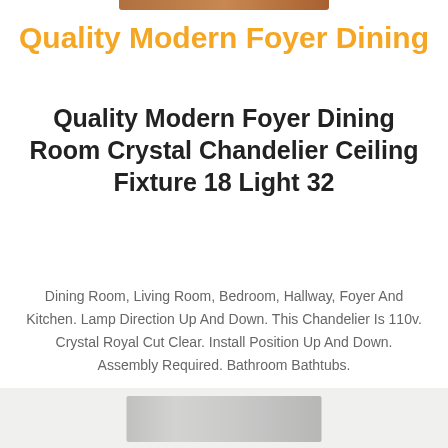[Figure (photo): Partial product image strip at top of page]
Quality Modern Foyer Dining
Quality Modern Foyer Dining Room Crystal Chandelier Ceiling Fixture 18 Light 32
Dining Room, Living Room, Bedroom, Hallway, Foyer And Kitchen. Lamp Direction Up And Down. This Chandelier Is 110v. Crystal Royal Cut Clear. Install Position Up And Down. Assembly Required. Bathroom Bathtubs.
$1707.30
[Figure (photo): Partial product image strip at bottom of page]